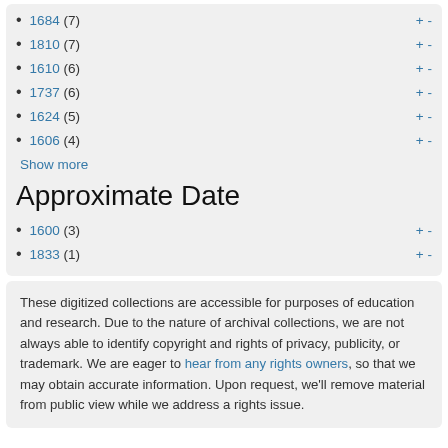1684 (7)
1810 (7)
1610 (6)
1737 (6)
1624 (5)
1606 (4)
Show more
Approximate Date
1600 (3)
1833 (1)
These digitized collections are accessible for purposes of education and research. Due to the nature of archival collections, we are not always able to identify copyright and rights of privacy, publicity, or trademark. We are eager to hear from any rights owners, so that we may obtain accurate information. Upon request, we'll remove material from public view while we address a rights issue.